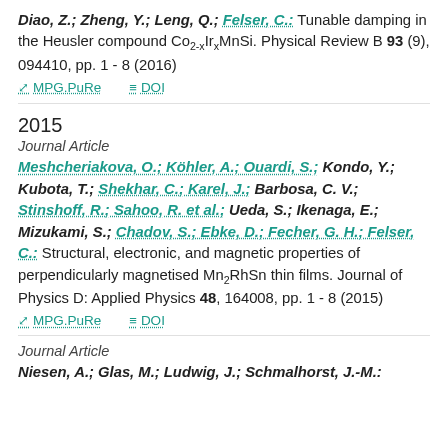Diao, Z.; Zheng, Y.; Leng, Q.; Felser, C.: Tunable damping in the Heusler compound Co2-xIrxMnSi. Physical Review B 93 (9), 094410, pp. 1 - 8 (2016)
MPG.PuRe   DOI
2015
Journal Article
Meshcheriakova, O.; Köhler, A.; Ouardi, S.; Kondo, Y.; Kubota, T.; Shekhar, C.; Karel, J.; Barbosa, C. V.; Stinshoff, R.; Sahoo, R. et al.; Ueda, S.; Ikenaga, E.; Mizukami, S.; Chadov, S.; Ebke, D.; Fecher, G. H.; Felser, C.: Structural, electronic, and magnetic properties of perpendicularly magnetised Mn2RhSn thin films. Journal of Physics D: Applied Physics 48, 164008, pp. 1 - 8 (2015)
MPG.PuRe   DOI
Journal Article
Niesen, A.; Glas, M.; Ludwig, J.; Schmalhorst, J.-M.: